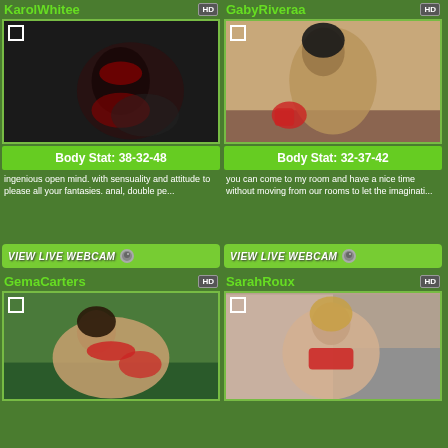KarolWhitee
[Figure (photo): Woman in red lingerie, dark background]
Body Stat: 38-32-48
ingenious open mind. with sensuality and attitude to please all your fantasies. anal, double pe...
VIEW LIVE WEBCAM
GabyRiveraa
[Figure (photo): Woman posing with boxing gloves on wooden floor]
Body Stat: 32-37-42
you can come to my room and have a nice time without moving from our rooms to let the imaginati...
VIEW LIVE WEBCAM
GemaCarters
[Figure (photo): Woman in red bikini outdoors on teal surface]
SarahRoux
[Figure (photo): Woman in red top, split background panels]